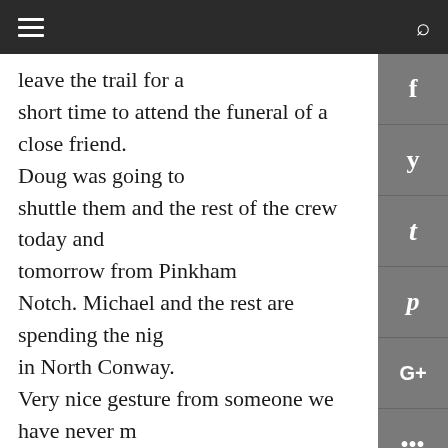[navigation bar with hamburger menu and search icon]
leave the trail for a short time to attend the funeral of a close friend. Doug was going to shuttle them and the rest of the crew today and tomorrow from Pinkham Notch. Michael and the rest are spending the night in North Conway. Very nice gesture from someone we have never met. Thanks, Doug.

Michael says each day is harder. He has worn out his 4th or 5th pair of shoes. They will reach the Maine state line at mile marker 1902.4. The AT ends at mile marker 2184.2. Less than 282 miles